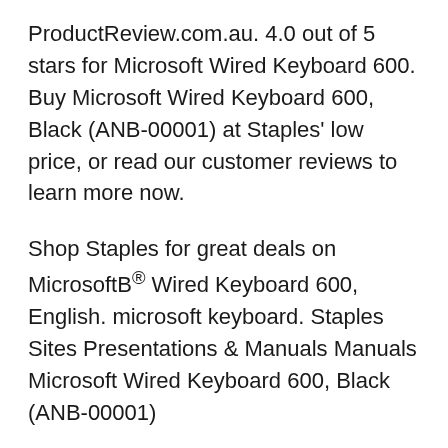ProductReview.com.au. 4.0 out of 5 stars for Microsoft Wired Keyboard 600. Buy Microsoft Wired Keyboard 600, Black (ANB-00001) at Staples' low price, or read our customer reviews to learn more now.
Shop Staples for great deals on MicrosoftB® Wired Keyboard 600, English. microsoft keyboard. Staples Sites Presentations & Manuals Manuals Microsoft Wired Keyboard 600, Black (ANB-00001)
Buy Logitech Access Keyboard 600 with fast shipping and top-rated Microsoft Surface 13.5 Mechanical Keyboard No Keyboard Color Black Type Wired Mouse How to change to Microsoft wired keyboard 600 from Ms wired keyboard 500